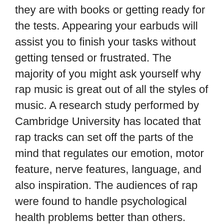they are with books or getting ready for the tests. Appearing your earbuds will assist you to finish your tasks without getting tensed or frustrated. The majority of you might ask yourself why rap music is great out of all the styles of music. A research study performed by Cambridge University has located that rap tracks can set off the parts of the mind that regulates our emotion, motor feature, nerve features, language, and also inspiration. The audiences of rap were found to handle psychological health problems better than others. Songs with great verses, memorable rhythm, and upbeat tracks can work marvels for you. So start listening to different tunes as well as structures for obtaining some argumentation help.
Concentrating with Music
Many believe that music can sidetrack the college and